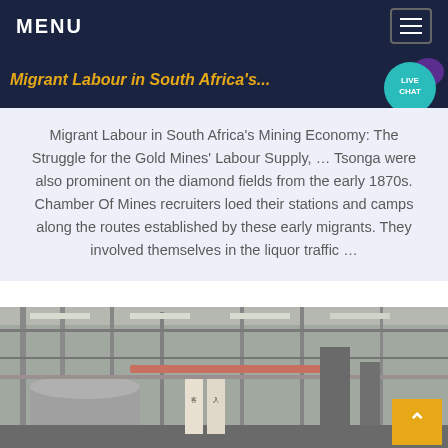MENU
Migrant Labour in South Africa's...
Migrant Labour in South Africa's Mining Economy: The Struggle for the Gold Mines' Labour Supply, … Tsonga were also prominent on the diamond fields from the early 1870s. Chamber Of Mines recruiters loed their stations and camps along the routes established by these early migrants. They involved themselves in the liquor traffic …
[Figure (photo): Interior of an industrial factory/warehouse with metal structures, machinery, and Japanese signage visible. A yellow 'back to top' button is in the bottom right corner.]